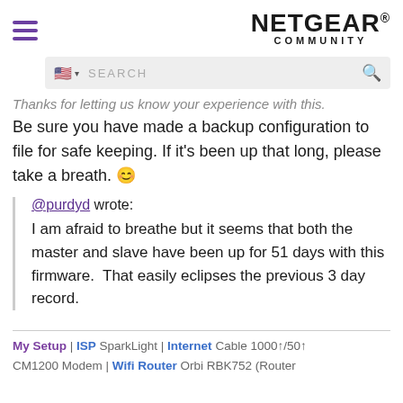NETGEAR COMMUNITY
Thanks for letting us know your experience with this.
Be sure you have made a backup configuration to file for safe keeping. If it's been up that long, please take a breath. 😊
@purdyd wrote:
I am afraid to breathe but it seems that both the master and slave have been up for 51 days with this firmware.  That easily eclipses the previous 3 day record.
My Setup | ISP SparkLight | Internet Cable 1000↑/50↑ CM1200 Modem | Wifi Router Orbi RBK752 (Router